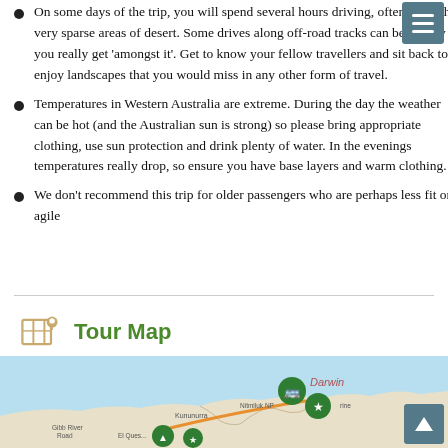On some days of the trip, you will spend several hours driving, often through very sparse areas of desert. Some drives along off-road tracks can be bumpy as you really get 'amongst it'. Get to know your fellow travellers and sit back to enjoy landscapes that you would miss in any other form of travel.
Temperatures in Western Australia are extreme. During the day the weather can be hot (and the Australian sun is strong) so please bring appropriate clothing, use sun protection and drink plenty of water. In the evenings temperatures really drop, so ensure you have base layers and warm clothing.
We don't recommend this trip for older passengers who are perhaps less fit or agile
Tour Map
[Figure (map): Tour map showing northern Australia with Darwin labeled in red italic, location pins (green circles with bus and star icons) near Darwin and Nitmiluk, orange route line, and labels for Kununurra, Gibb River Road, El Questro area.]